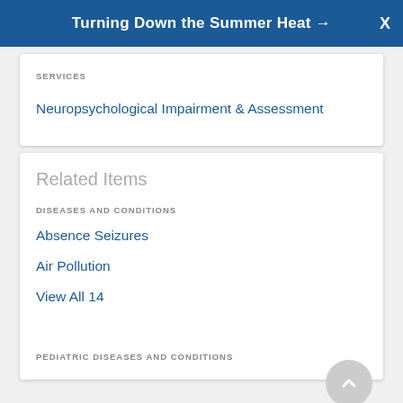Turning Down the Summer Heat →
SERVICES
Neuropsychological Impairment & Assessment
Related Items
DISEASES AND CONDITIONS
Absence Seizures
Air Pollution
View All 14
PEDIATRIC DISEASES AND CONDITIONS